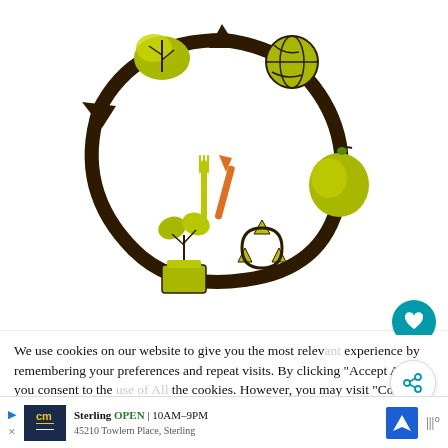[Figure (illustration): Circular food sustainability infographic: dark brown circular arrows forming a cycle with icons — a leafy vegetable and globe at top, an apple on the right, a recycling symbol at bottom right, a potted plant at bottom left, and a fork/knife/carrot in the center.]
We use cookies on our website to give you the most relevant experience by remembering your preferences and repeat visits. By clicking "Accept All", you consent to the use of ALL the cookies. However, you may visit "Cookie Settings" to provide a controlled consent.